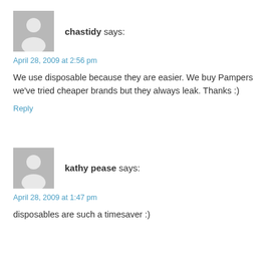[Figure (illustration): Gray placeholder avatar icon for user chastidy]
chastidy says:
April 28, 2009 at 2:56 pm
We use disposable because they are easier. We buy Pampers we've tried cheaper brands but they always leak. Thanks :)
Reply
[Figure (illustration): Gray placeholder avatar icon for user kathy pease]
kathy pease says:
April 28, 2009 at 1:47 pm
disposables are such a timesaver :)